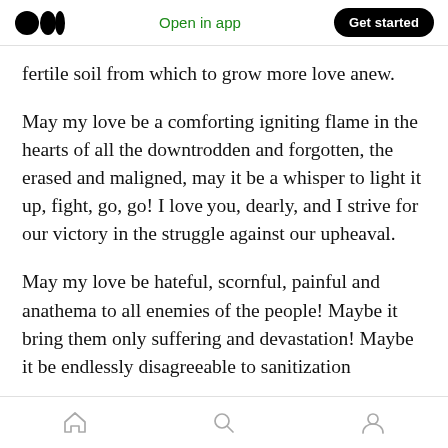Medium app header with logo, Open in app, Get started
fertile soil from which to grow more love anew.
May my love be a comforting igniting flame in the hearts of all the downtrodden and forgotten, the erased and maligned, may it be a whisper to light it up, fight, go, go! I love you, dearly, and I strive for our victory in the struggle against our upheaval.
May my love be hateful, scornful, painful and anathema to all enemies of the people! Maybe it bring them only suffering and devastation! Maybe it be endlessly disagreeable to sanitization
Home Search Profile navigation icons